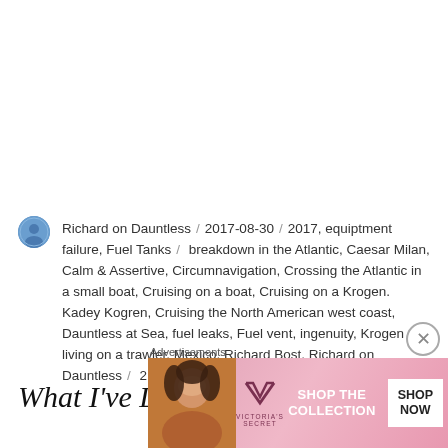Richard on Dauntless / 2017-08-30 / 2017, equiptment failure, Fuel Tanks / breakdown in the Atlantic, Caesar Milan, Calm & Assertive, Circumnavigation, Crossing the Atlantic in a small boat, Cruising on a boat, Cruising on a Krogen. Kadey Kogren, Cruising the North American west coast, Dauntless at Sea, fuel leaks, Fuel vent, ingenuity, Krogen 42, living on a trawler, Mexico, Richard Bost, Richard on Dauntless / 2 Comments
What I've Learned from Crossing
[Figure (other): Victoria's Secret advertisement banner with model photo, VS logo, 'SHOP THE COLLECTION' text, and 'SHOP NOW' button]